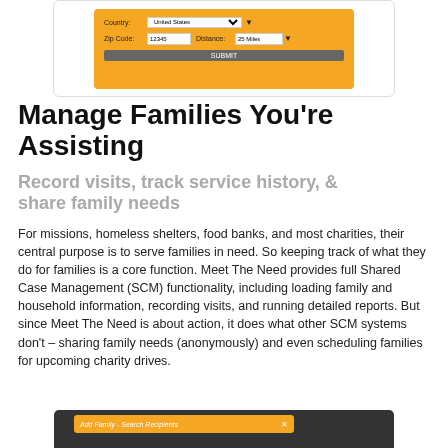[Figure (screenshot): Screenshot of a web form with orange background showing Country (United States), Zip Code (12345), Distance (25 Miles) fields and a Submit button]
Manage Families You're Assisting
Record visits, track service history, & share family needs
For missions, homeless shelters, food banks, and most charities, their central purpose is to serve families in need. So keeping track of what they do for families is a core function. Meet The Need provides full Shared Case Management (SCM) functionality, including loading family and household information, recording visits, and running detailed reports. But since Meet The Need is about action, it does what other SCM systems don't – sharing family needs (anonymously) and even scheduling families for upcoming charity drives.
[Figure (screenshot): Partial screenshot of a dark background interface with an orange bar labeled 'Add Family - Search Recipients' with an X button]